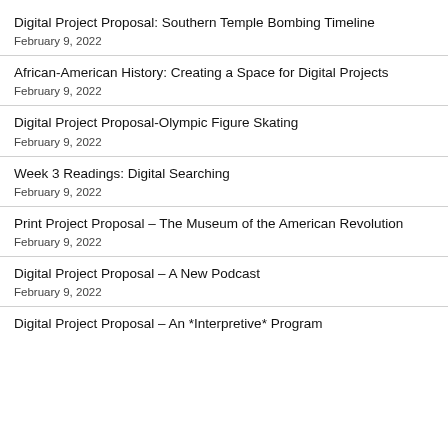Digital Project Proposal: Southern Temple Bombing Timeline
February 9, 2022
African-American History: Creating a Space for Digital Projects
February 9, 2022
Digital Project Proposal-Olympic Figure Skating
February 9, 2022
Week 3 Readings: Digital Searching
February 9, 2022
Print Project Proposal – The Museum of the American Revolution
February 9, 2022
Digital Project Proposal – A New Podcast
February 9, 2022
Digital Project Proposal – An *Interpretive* Program